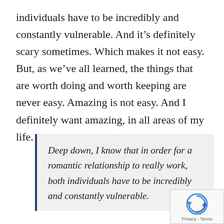individuals have to be incredibly and constantly vulnerable. And it's definitely scary sometimes. Which makes it not easy. But, as we've all learned, the things that are worth doing and worth keeping are never easy. Amazing is not easy. And I definitely want amazing, in all areas of my life.
Deep down, I know that in order for a romantic relationship to really work, both individuals have to be incredibly and constantly vulnerable.